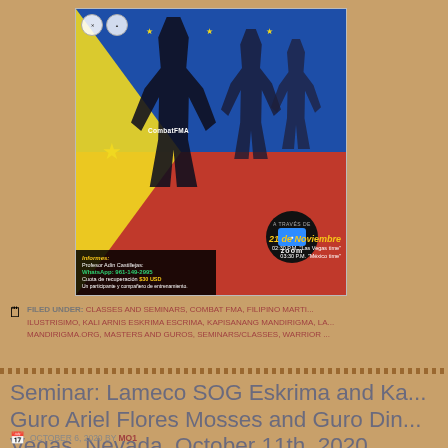[Figure (photo): Promotional poster for a CombatFMA seminar via Zoom on November 21. Features martial artists with weapons against a Philippine flag background. Text in Spanish includes contact info: Professor Adin Castillejas, WhatsApp 961-149-2995, Cuota de recuperacion $30 USD. Time: 02:30 PM Las Vegas time / 03:30 PM Mexico time. A través de Zoom.]
FILED UNDER: CLASSES AND SEMINARS, COMBAT FMA, FILIPINO MARTI... ILUSTRISIMO, KALI ARNIS ESKRIMA ESCRIMA, KAPISANANG MANDIRIGMA, LA... MANDIRIGMA.ORG, MASTERS AND GUROS, SEMINARS/CLASSES, WARRIOR ...
Seminar: Lameco SOG Eskrima and Ka... Guro Ariel Flores Mosses and Guro Din... Vegas, Nevada. October 11th, 2020.
OCTOBER 6, 2020 BY MO1